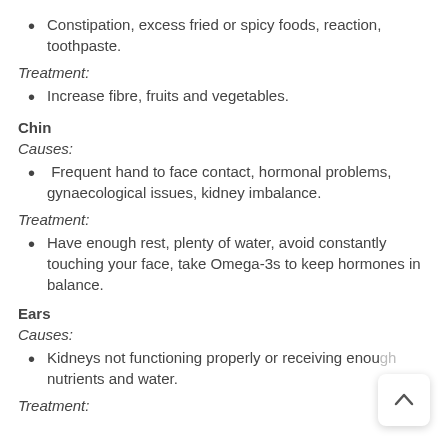Constipation, excess fried or spicy foods, reaction, toothpaste.
Treatment:
Increase fibre, fruits and vegetables.
Chin
Causes:
Frequent hand to face contact, hormonal problems, gynaecological issues, kidney imbalance.
Treatment:
Have enough rest, plenty of water, avoid constantly touching your face, take Omega-3s to keep hormones in balance.
Ears
Causes:
Kidneys not functioning properly or receiving enough nutrients and water.
Treatment: